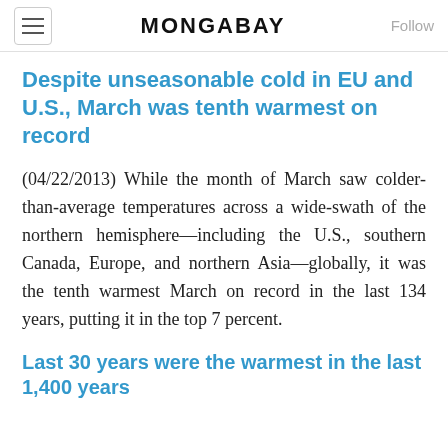MONGABAY
Despite unseasonable cold in EU and U.S., March was tenth warmest on record
(04/22/2013) While the month of March saw colder-than-average temperatures across a wide-swath of the northern hemisphere—including the U.S., southern Canada, Europe, and northern Asia—globally, it was the tenth warmest March on record in the last 134 years, putting it in the top 7 percent.
Last 30 years were the warmest in the last 1,400 years